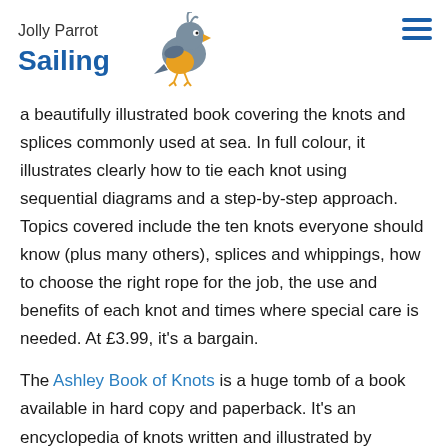Jolly Parrot Sailing
a beautifully illustrated book covering the knots and splices commonly used at sea. In full colour, it illustrates clearly how to tie each knot using sequential diagrams and a step-by-step approach. Topics covered include the ten knots everyone should know (plus many others), splices and whippings, how to choose the right rope for the job, the use and benefits of each knot and times where special care is needed. At £3.99, it's a bargain.
The Ashley Book of Knots is a huge tomb of a book available in hard copy and paperback. It's an encyclopedia of knots written and illustrated by Clifford W. Ashley. First published in 1944, it was the culmination of over 11 years of work and it contains exactly 3854 numbered entries and an estimated 7000 illustrations!  The entries include knot instructions, uses, and some histories, categorized by type or function. It remains one of the most important and comprehensive books on knots. A book for the knot aficionado!